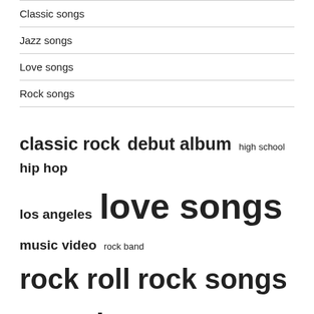Classic songs
Jazz songs
Love songs
Rock songs
classic rock  debut album  high school  hip hop  los angeles  love songs  music video  rock band  rock roll  rock songs  rolling stones  singer songwriter  songs time  title track  united states
RECENT POSTS
The 18 Best Songs About Fall To Add To Your Fall Playlist